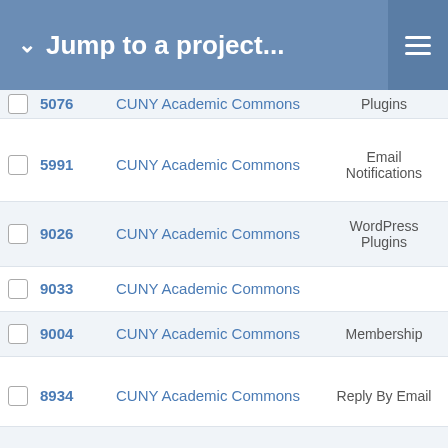Jump to a project...
|  | # | Project | Category |  |
| --- | --- | --- | --- | --- |
|  | 5076 | CUNY Academic Commons | Plugins | CU... |
|  | 5991 | CUNY Academic Commons | Email Notifications | CUNY A... |
|  | 9026 | CUNY Academic Commons | WordPress Plugins | CU... |
|  | 9033 | CUNY Academic Commons |  |  |
|  | 9004 | CUNY Academic Commons | Membership | CUNY |
|  | 8934 | CUNY Academic Commons | Reply By Email | CU... |
|  | 8893 | CUNY Academic Commons | Social Paper | CU... |
|  | 8886 | CUNY Academic Commons | WordPress | CU... |